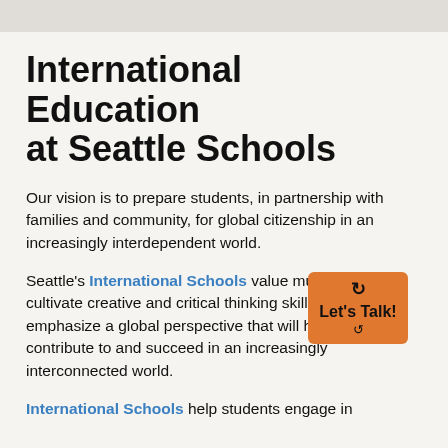International Education at Seattle Schools
Our vision is to prepare students, in partnership with families and community, for global citizenship in an increasingly interdependent world.
Seattle's International Schools value multilingualism, cultivate creative and critical thinking skills, and emphasize a global perspective that will help students contribute to and succeed in an increasingly interconnected world.
International Schools help students engage in